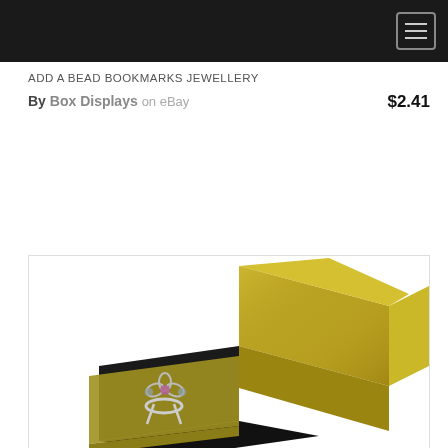ADD A BEAD BOOKMARKS JEWELLERY
By Box Displays on eBay   $2.41
[Figure (photo): A gold textured square jewelry box with lid open, showing a silver flower ring with colored gemstones displayed on a black velvet insert inside the box.]